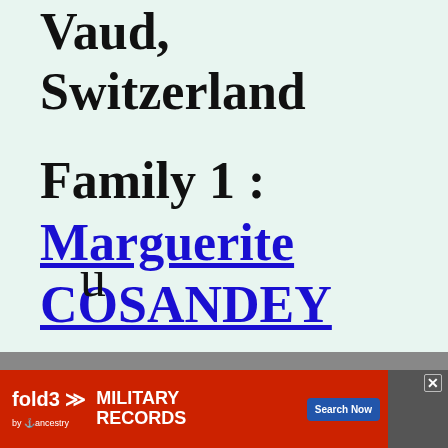Vaud, Switzerland
Family 1 :
Marguerite COSANDEY
(dates
u
[Figure (other): fold3 by Ancestry advertisement banner for Military Records with Search Now button and close X button]